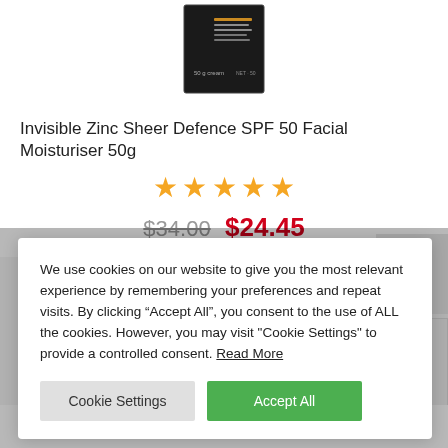[Figure (photo): Product image of Invisible Zinc Sheer Defence SPF 50 box (black packaging) shown from above]
Invisible Zinc Sheer Defence SPF 50 Facial Moisturiser 50g
[Figure (other): 5 orange star rating icons]
$34.00  $24.45
We use cookies on our website to give you the most relevant experience by remembering your preferences and repeat visits. By clicking “Accept All”, you consent to the use of ALL the cookies. However, you may visit "Cookie Settings" to provide a controlled consent. Read More